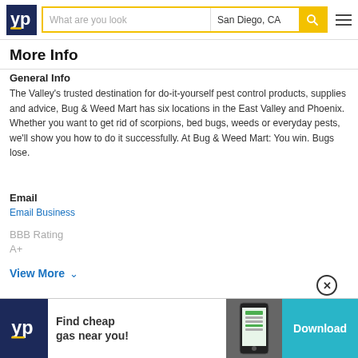[Figure (screenshot): YellowPages (YP) website header with logo, search bar reading 'What are you look' and location 'San Diego, CA', yellow search button, and hamburger menu icon]
More Info
General Info
The Valley's trusted destination for do-it-yourself pest control products, supplies and advice, Bug & Weed Mart has six locations in the East Valley and Phoenix. Whether you want to get rid of scorpions, bed bugs, weeds or everyday pests, we'll show you how to do it successfully. At Bug & Weed Mart: You win. Bugs lose.
Email
Email Business
BBB Rating
A+
View More
[Figure (infographic): YP advertisement banner: YP logo, text 'Find cheap gas near you!', phone screenshot, and Download button in teal]